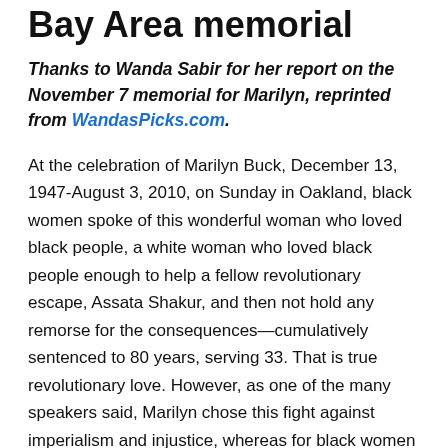Bay Area memorial
Thanks to Wanda Sabir for her report on the November 7 memorial for Marilyn, reprinted from WandasPicks.com.
At the celebration of Marilyn Buck, December 13, 1947-August 3, 2010, on Sunday in Oakland, black women spoke of this wonderful woman who loved black people, a white woman who loved black people enough to help a fellow revolutionary escape, Assata Shakur, and then not hold any remorse for the consequences—cumulatively sentenced to 80 years, serving 33. That is true revolutionary love. However, as one of the many speakers said, Marilyn chose this fight against imperialism and injustice, whereas for black women faced with circumstances woven into the fabric of American society, western society, black women didn't have a choice. They